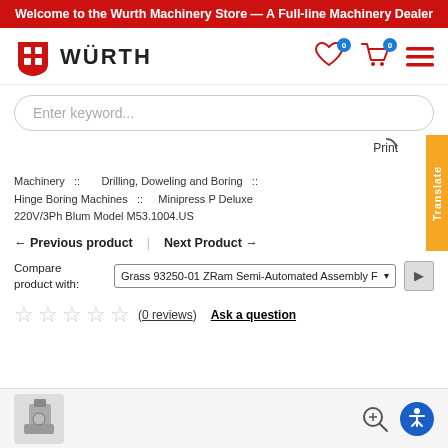Welcome to the Wurth Machinery Store — A Full-line Machinery Dealer
[Figure (logo): Wurth logo with shield icon and WURTH text, plus navigation icons (heart with badge 0, cart with badge 0, hamburger menu)]
Enter keyword...
Print
Translate
Machinery :: Drilling, Doweling and Boring :: Hinge Boring Machines :: Minipress P Deluxe 220V/3Ph Blum Model M53.1004.US
← Previous product | Next Product →
Compare product with: Grass 93250-01 ZRam Semi-Automated Assembly F▾
(0 reviews)   Ask a question
[Figure (photo): Partial product image of a machine at the bottom, with zoom and accessibility icons]